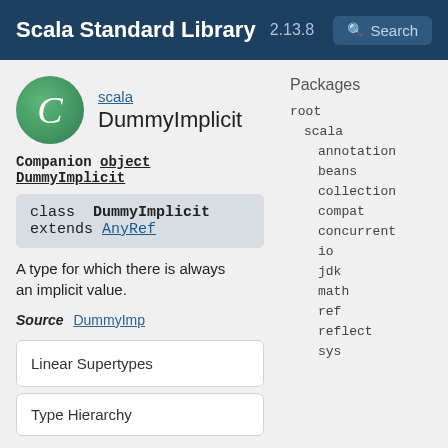Scala Standard Library 2.13.8 Search
[Figure (logo): Green circle with italic letter C, representing a class icon]
scala
DummyImplicit
Companion object DummyImplicit
class  DummyImplicit
extends AnyRef
A type for which there is always an implicit value.
Source   DummyImp
Linear Supertypes
Type Hierarchy
Packages
root
scala
annotation
beans
collection
compat
concurrent
io
jdk
math
ref
reflect
sys